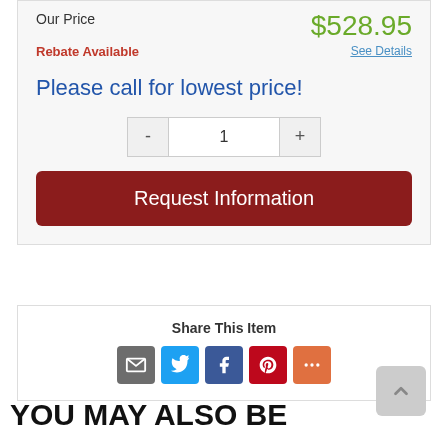Our Price
$528.95
Rebate Available
See Details
Please call for lowest price!
Request Information
Share This Item
[Figure (infographic): Social share icons: email (gray), Twitter (blue), Facebook (dark blue), Pinterest (red), More (orange-red)]
YOU MAY ALSO BE